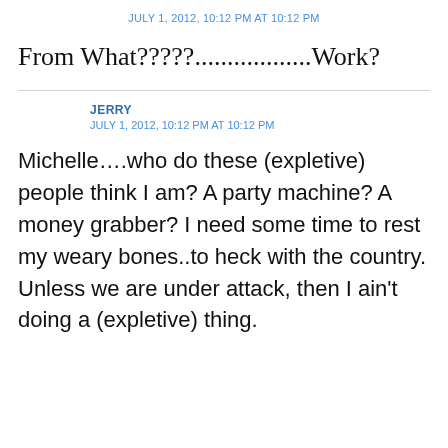JULY 1, 2012, 10:12 PM AT 10:12 PM
From What?????..................Work?
JERRY
JULY 1, 2012, 10:12 PM AT 10:12 PM
Michelle….who do these (expletive) people think I am? A party machine? A money grabber? I need some time to rest my weary bones..to heck with the country. Unless we are under attack, then I ain't doing a (expletive) thing.